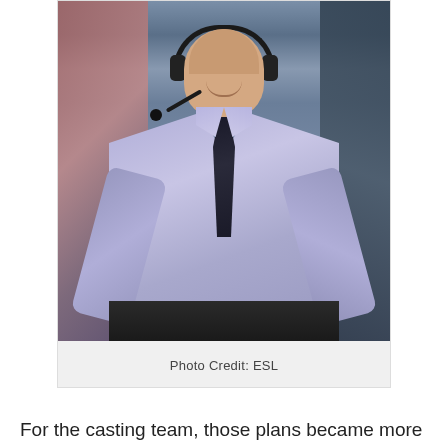[Figure (photo): A bald man wearing a lavender/light purple dress shirt and black tie, with a gaming headset on, sitting at a desk. He is smiling and appears to be a esports commentator/caster. Background is dark with an esports event setting.]
Photo Credit: ESL
For the casting team, those plans became more